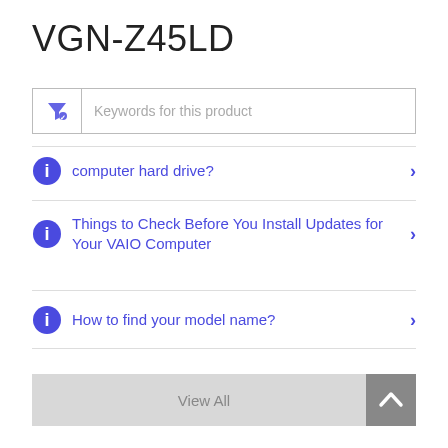VGN-Z45LD
Keywords for this product
computer hard drive?
Things to Check Before You Install Updates for Your VAIO Computer
How to find your model name?
View All